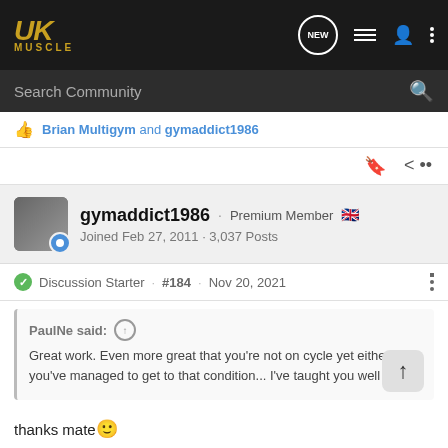UK MUSCLE
Search Community
Brian Multigym and gymaddict1986
gymaddict1986 · Premium Member
Joined Feb 27, 2011 · 3,037 Posts
Discussion Starter · #184 · Nov 20, 2021
PaulNe said:
Great work. Even more great that you're not on cycle yet either and you've managed to get to that condition... I've taught you well
thanks mate
Hoping to jump back on next month if bloods come back good.